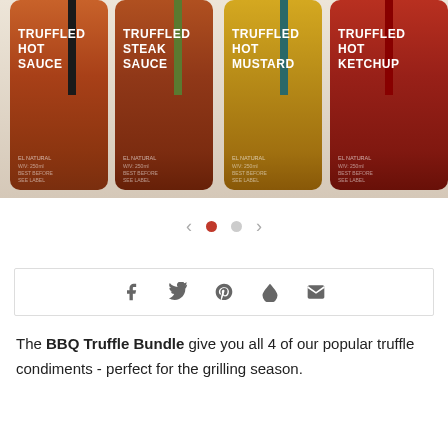[Figure (photo): Four glass sauce bottles in a row: Truffled Hot Sauce (dark brown with black stripe), Truffled Steak Sauce (dark brown with green stripe), Truffled Hot Mustard (golden yellow with teal stripe), Truffled Hot Ketchup (dark red with red stripe). Each bottle has a white label with bold text and a small vertical color stripe.]
[Figure (other): Carousel navigation showing left arrow (<), one active red dot, one inactive grey dot, and right arrow (>)]
[Figure (other): Social sharing bar with icons for Facebook, Twitter, Pinterest, Fancy, and Email inside a bordered box]
The BBQ Truffle Bundle give you all 4 of our popular truffle condiments - perfect for the grilling season.